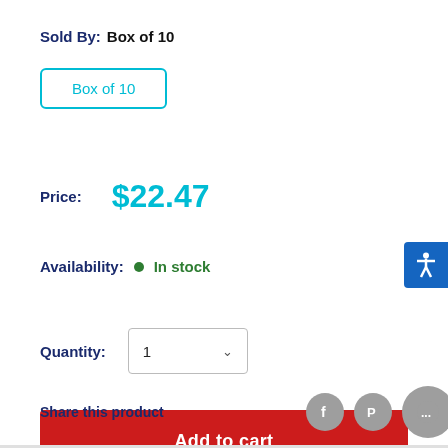Sold By: Box of 10
Box of 10
Price: $22.47
Availability: In stock
Quantity: 1
Add to cart
Share this product